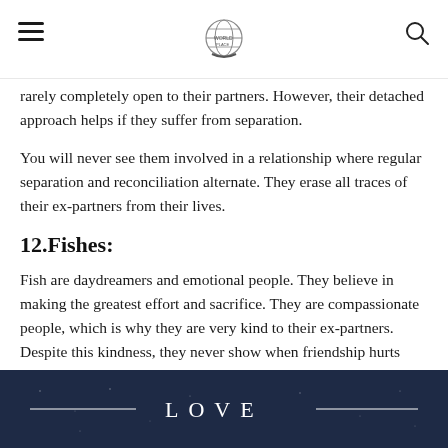[Navigation header with hamburger menu, globe logo, and search icon]
rarely completely open to their partners. However, their detached approach helps if they suffer from separation.
You will never see them involved in a relationship where regular separation and reconciliation alternate. They erase all traces of their ex-partners from their lives.
12.Fishes:
Fish are daydreamers and emotional people. They believe in making the greatest effort and sacrifice. They are compassionate people, which is why they are very kind to their ex-partners. Despite this kindness, they never show when friendship hurts them.
[Figure (other): Dark navy blue banner with the word LOVE in white capital letters, flanked by horizontal lines on each side.]